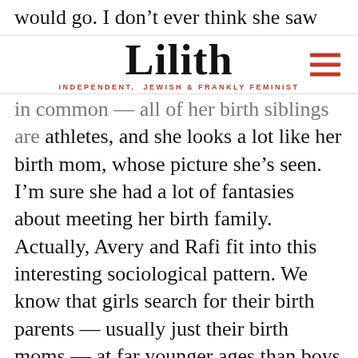would go. I don’t ever think she saw herself
Lilith
INDEPENDENT, JEWISH & FRANKLY FEMINIST
in common — all of her birth siblings are athletes, and she looks a lot like her birth mom, whose picture she’s seen. I’m sure she had a lot of fantasies about meeting her birth family. Actually, Avery and Rafi fit into this interesting sociological pattern. We know that girls search for their birth parents — usually just their birth moms — at far younger ages than boys do. There are exceptions, of course, but by and large girls start searching around Avery’s age, sometimes even younger, and boys generally don’t until they grow up and start